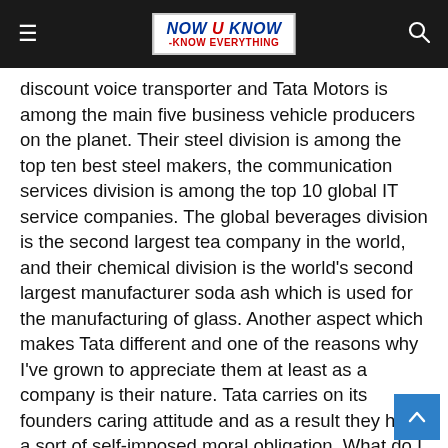NOW U KNOW -KNOW EVERYTHING
discount voice transporter and Tata Motors is among the main five business vehicle producers on the planet. Their steel division is among the top ten best steel makers, the communication services division is among the top 10 global IT service companies. The global beverages division is the second largest tea company in the world, and their chemical division is the world's second largest manufacturer soda ash which is used for the manufacturing of glass. Another aspect which makes Tata different and one of the reasons why I've grown to appreciate them at least as a company is their nature. Tata carries on its founders caring attitude and as a result they have a sort of self-imposed moral obligation. What do I mean by this? The company has actually made it a habit to return some of its wealth to society mainly through providing investments back into the local economy. This is not only true within India but in many